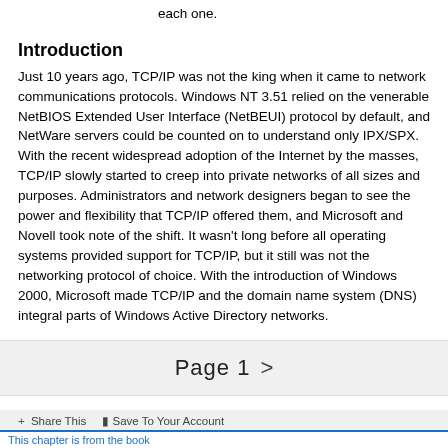each one.
Introduction
Just 10 years ago, TCP/IP was not the king when it came to network communications protocols. Windows NT 3.51 relied on the venerable NetBIOS Extended User Interface (NetBEUI) protocol by default, and NetWare servers could be counted on to understand only IPX/SPX. With the recent widespread adoption of the Internet by the masses, TCP/IP slowly started to creep into private networks of all sizes and purposes. Administrators and network designers began to see the power and flexibility that TCP/IP offered them, and Microsoft and Novell took note of the shift. It wasn't long before all operating systems provided support for TCP/IP, but it still was not the networking protocol of choice. With the introduction of Windows 2000, Microsoft made TCP/IP and the domain name system (DNS) integral parts of Windows Active Directory networks.
Page 1 >
+ Share This   Save To Your Account